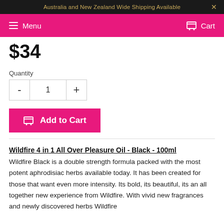Australia and New Zealand Wide Shipping Available
Menu  Cart
$34
Quantity
- 1 +
Add to Cart
Wildfire 4 in 1 All Over Pleasure Oil - Black - 100ml
Wildfire Black is a double strength formula packed with the most potent aphrodisiac herbs available today. It has been created for those that want even more intensity. Its bold, its beautiful, its an all together new experience from Wildfire. With vivid new fragrances and newly discovered herbs Wildfire